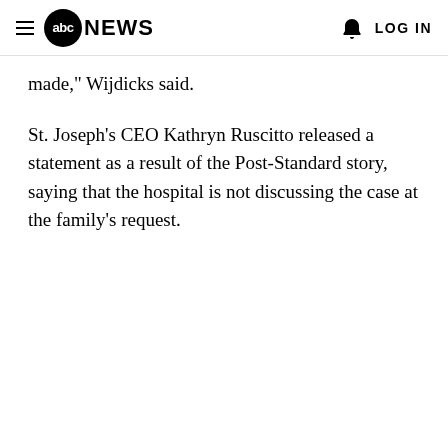abc NEWS  LOG IN
made," Wijdicks said.
St. Joseph's CEO Kathryn Ruscitto released a statement as a result of the Post-Standard story, saying that the hospital is not discussing the case at the family's request.